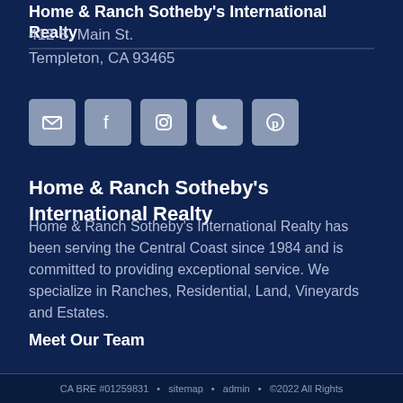Home & Ranch Sotheby's International Realty
412 S. Main St.
Templeton, CA 93465
[Figure (infographic): Row of 5 social media icon buttons: email, Facebook, Instagram, phone, Pinterest on gray rounded square backgrounds]
Home & Ranch Sotheby's International Realty
Home & Ranch Sotheby's International Realty has been serving the Central Coast since 1984 and is committed to providing exceptional service. We specialize in Ranches, Residential, Land, Vineyards and Estates.
Meet Our Team
CA BRE #01259831  •  sitemap  •  admin  •  ©2022 All Rights